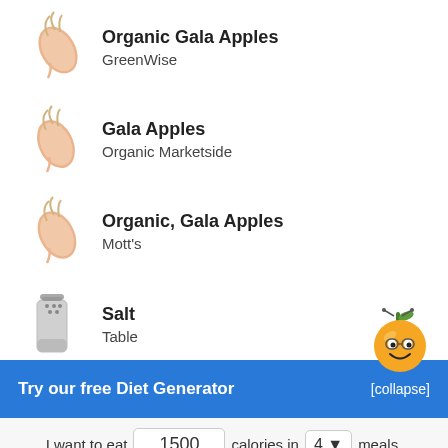Organic Gala Apples – GreenWise
Gala Apples – Organic Marketside
Organic, Gala Apples – Mott's
Salt – Table
Try our free Diet Generator [collapse]
I want to eat 1500 calories in 4 meals.
Generate